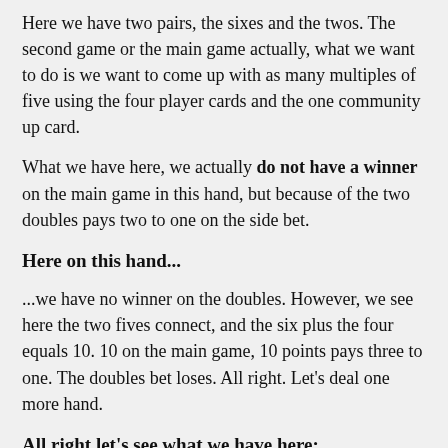Here we have two pairs, the sixes and the twos. The second game or the main game actually, what we want to do is we want to come up with as many multiples of five using the four player cards and the one community up card.
What we have here, we actually do not have a winner on the main game in this hand, but because of the two doubles pays two to one on the side bet.
Here on this hand...
...we have no winner on the doubles. However, we see here the two fives connect, and the six plus the four equals 10. 10 on the main game, 10 points pays three to one. The doubles bet loses. All right. Let's deal one more hand.
All right let's see what we have here:
On this hand, we have no pairs and we actually have no connecting cards whatsoever, so this hand loses everything. This hand, again, we have two doubles, the sixes and twos.